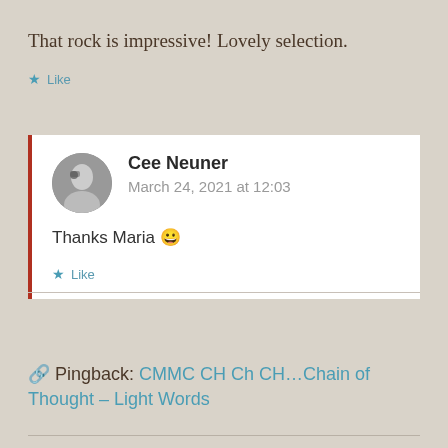That rock is impressive! Lovely selection.
★ Like
Cee Neuner
March 24, 2021 at 12:03
Thanks Maria 😀
★ Like
Pingback: CMMC CH Ch CH…Chain of Thought – Light Words